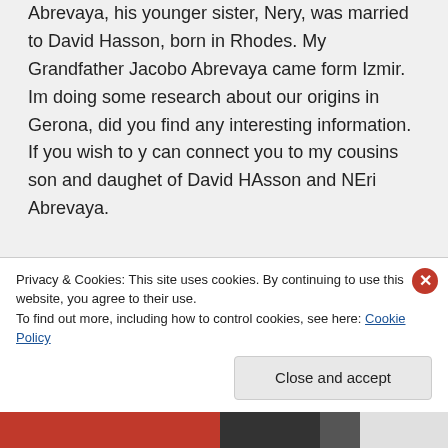Abrevaya, his younger sister, Nery, was married to David Hasson, born in Rhodes. My Grandfather Jacobo Abrevaya came form Izmir. Im doing some research about our origins in Gerona, did you find any interesting information.
If you wish to y can connect you to my cousins son and daughet of David HAsson and NEri Abrevaya.

Regards
Privacy & Cookies: This site uses cookies. By continuing to use this website, you agree to their use.
To find out more, including how to control cookies, see here: Cookie Policy